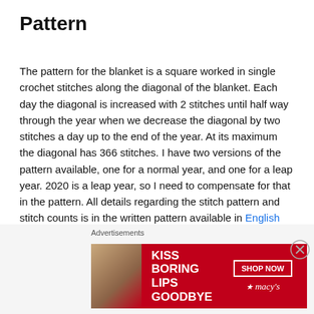Pattern
The pattern for the blanket is a square worked in single crochet stitches along the diagonal of the blanket. Each day the diagonal is increased with 2 stitches until half way through the year when we decrease the diagonal by two stitches a day up to the end of the year. At its maximum the diagonal has 366 stitches. I have two versions of the pattern available, one for a normal year, and one for a leap year. 2020 is a leap year, so I need to compensate for that in the pattern. All details regarding the stitch pattern and stitch counts is in the written pattern available in English
Advertisements
[Figure (screenshot): Macy's advertisement banner: 'KISS BORING LIPS GOODBYE' with SHOP NOW button and Macy's star logo on red background with a woman's face]